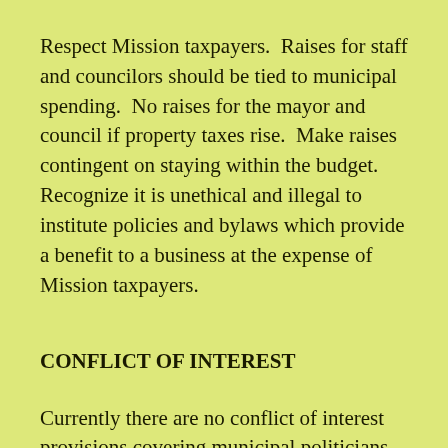Respect Mission taxpayers.  Raises for staff and councilors should be tied to municipal spending.  No raises for the mayor and council if property taxes rise.  Make raises contingent on staying within the budget.  Recognize it is unethical and illegal to institute policies and bylaws which provide a benefit to a business at the expense of Mission taxpayers.
CONFLICT OF INTEREST
Currently there are no conflict of interest provisions covering municipal politicians in the